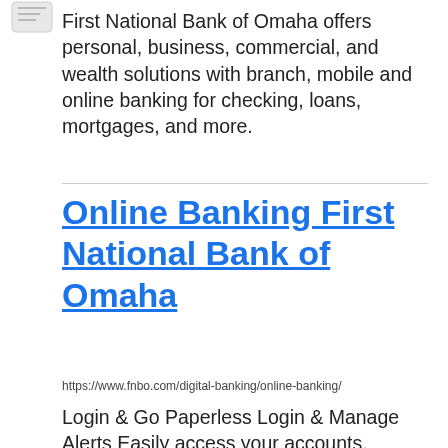[Figure (logo): Small icon/logo in top left corner, partially visible]
First National Bank of Omaha offers personal, business, commercial, and wealth solutions with branch, mobile and online banking for checking, loans, mortgages, and more.
Online Banking First National Bank of Omaha
https://www.fnbo.com/digital-banking/online-banking/
Login & Go Paperless Login & Manage Alerts Easily access your accounts, manage your bills and finances, view balances and